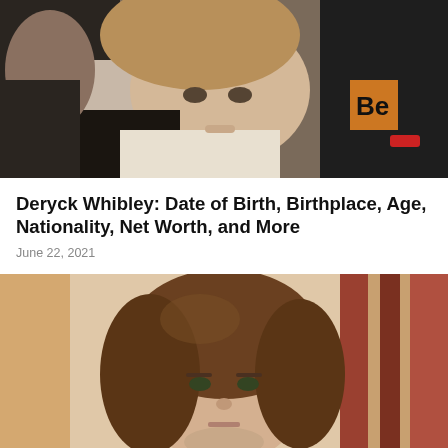[Figure (photo): A man with medium-length light brown hair making a facial expression, wearing a black jacket and white shirt, photographed at what appears to be an event. Another person in a black t-shirt with text is partially visible behind him.]
Deryck Whibley: Date of Birth, Birthplace, Age, Nationality, Net Worth, and More
June 22, 2021
[Figure (photo): A young man with medium-length wavy brown hair looking at the camera, photographed against a blurred background with warm reddish-brown vertical elements.]